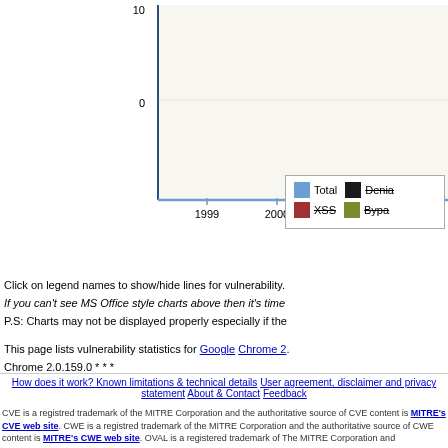[Figure (line-chart): Line chart showing vulnerability statistics over years 1999-2002+, y-axis 0-10, all values at 0. Legend shows Total (blue), Denial (black strikethrough), XSS (red strikethrough), Bypass (olive strikethrough).]
Click on legend names to show/hide lines for vulnerability. If you can't see MS Office style charts above then it's time... P.S: Charts may not be displayed properly especially if the...
This page lists vulnerability statistics for Google Chrome 2. Chrome 2.0.159.0 * * *
How does it work? Known limitations & technical details  User agreement, disclaimer and privacy statement  About & Contact  Feedback
CVE is a registred trademark of the MITRE Corporation and the authoritative source of CVE content is MITRE's CVE web site. CWE is a registred trademark of the MITRE Corporation and the authoritative source of CWE content is MITRE's CWE web site. OVAL is a registered trademark of The MITRE Corporation and...